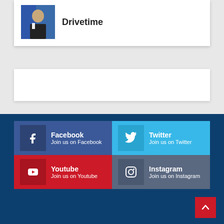[Figure (photo): Photo of a man in a suit, TV studio background]
Drivetime
[Figure (other): Social media links grid: Facebook, Twitter, Youtube, Instagram]
Scroll to top button (red arrow up)